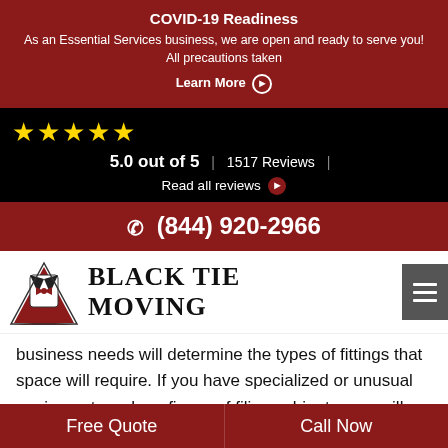COVID-19 Readiness
As an Essential Services business, we are open and ready to serve you! All precautions taken
Learn More
5.0 out of 5  |  1517 Reviews  |
Read all reviews
(844) 920-2966
[Figure (logo): Black Tie Moving company logo with stylized tuxedo and triangle shape]
Black Tie Moving
business needs will determine the types of fittings that space will require. If you have specialized or unusual equipment, such as fireproof filing cabinets, you will need to mention this when contracting local or long distance moving services. You will need to think about parking, plumbing, coffee service, access to food and food storage, and smoking rules.
Free Quote
Call Now